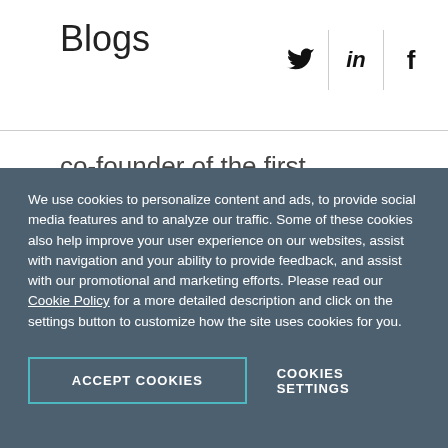Blogs
[Figure (infographic): Social media share icons: Twitter (bird), LinkedIn (in), Facebook (f), separated by vertical dividers]
co-founder of the first employee resource group at Progress, Progress for Her, which aims to empower women at the company by providing leadership and networking opportunities. When she is not at work, you can find her writing,
We use cookies to personalize content and ads, to provide social media features and to analyze our traffic. Some of these cookies also help improve your user experience on our websites, assist with navigation and your ability to provide feedback, and assist with our promotional and marketing efforts. Please read our Cookie Policy for a more detailed description and click on the settings button to customize how the site uses cookies for you.
ACCEPT COOKIES
COOKIES SETTINGS